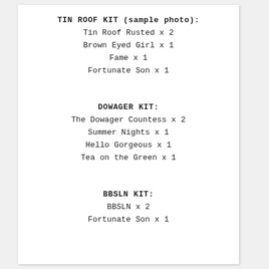TIN ROOF KIT (sample photo):
Tin Roof Rusted x 2
Brown Eyed Girl x 1
Fame x 1
Fortunate Son x 1
DOWAGER KIT:
The Dowager Countess x 2
Summer Nights x 1
Hello Gorgeous x 1
Tea on the Green x 1
BBSLN KIT:
BBSLN x 2
Fortunate Son x 1